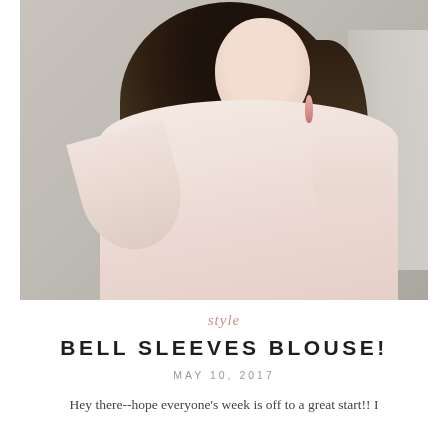[Figure (photo): A woman with dark wavy hair wearing a light pink off-shoulder bell sleeve blouse, posing with one hand raised to her hair, standing in front of a gray brick wall. She is wearing pink tassel earrings.]
style
BELL SLEEVES BLOUSE!
MAY 10, 2017
Hey there--hope everyone's week is off to a great start!! I